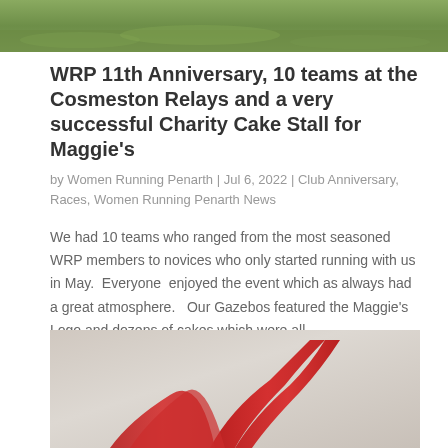[Figure (photo): Top portion of a grass field, green grass visible]
WRP 11th Anniversary, 10 teams at the Cosmeston Relays and a very successful Charity Cake Stall for Maggie's
by Women Running Penarth | Jul 6, 2022 | Club Anniversary, Races, Women Running Penarth News
We had 10 teams who ranged from the most seasoned WRP members to novices who only started running with us in May.  Everyone  enjoyed the event which as always had a great atmosphere.   Our Gazebos featured the Maggie's Logo and dozens of cakes which were all...
[Figure (photo): Close-up of a red ribbon or lanyard on a light beige/tan surface]